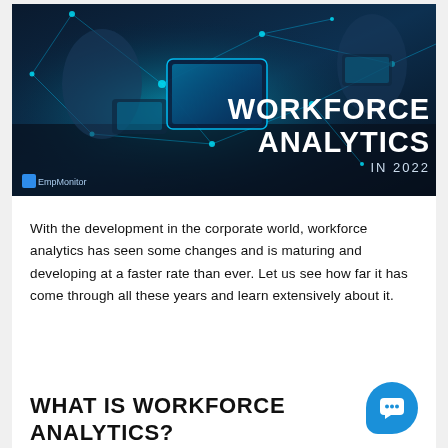[Figure (photo): Hero banner image showing hands working on a glowing digital tablet with neon blue network lines and nodes. Text overlay reads 'WORKFORCE ANALYTICS IN 2022'. EmpMonitor logo in bottom left.]
With the development in the corporate world, workforce analytics has seen some changes and is maturing and developing at a faster rate than ever. Let us see how far it has come through all these years and learn extensively about it.
WHAT IS WORKFORCE ANALYTICS?